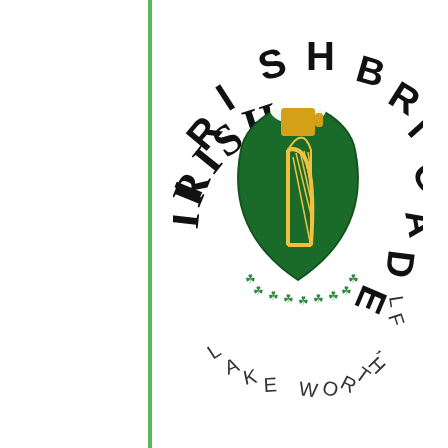[Figure (logo): Irish Brigade Lake Worth, FL logo: circular text around a green shield with a golden Irish harp and a beer mug with foam on top, surrounded by shamrocks]
Alive Beat | The Irish Brigade
[Figure (photo): Exterior photo of a yellow-fronted bar/venue with a red sign reading 'Speakeasy' and a crowd of people gathered outside on a sunny day with blue sky and palm trees]